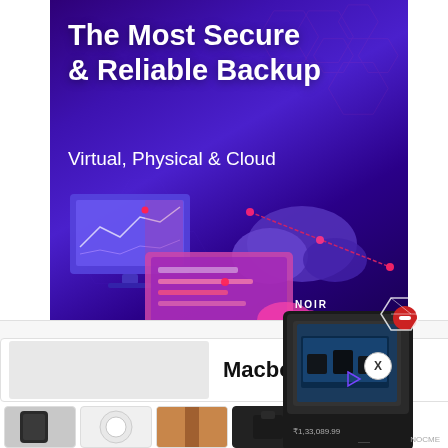[Figure (illustration): Purple gradient banner advertisement for cloud backup software. Title reads 'The Most Secure & Reliable Backup' and subtitle 'Virtual, Physical & Cloud'. Shows illustration of laptop, monitor and cloud backup icons.]
Advertisements
[Figure (illustration): Product box for what appears to be a portable device/camera with price tag ₹1,33,689.99 and a red minus/remove button in top right corner.]
Macbook Air 2020
[Figure (photo): Row of product thumbnail images showing various accessories including phone case, wireless earbuds case, leather bag/strap, black case/bag, and a keychain fob.]